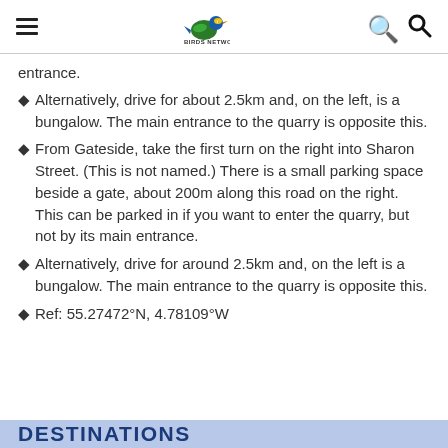[hamburger menu] [Birds Network logo] [search icon]
entrance.
Alternatively, drive for about 2.5km and, on the left, is a bungalow. The main entrance to the quarry is opposite this.
From Gateside, take the first turn on the right into Sharon Street. (This is not named.) There is a small parking space beside a gate, about 200m along this road on the right. This can be parked in if you want to enter the quarry, but not by its main entrance.
Alternatively, drive for around 2.5km and, on the left is a bungalow. The main entrance to the quarry is opposite this.
Ref: 55.27472°N, 4.78109°W
DESTINATIONS